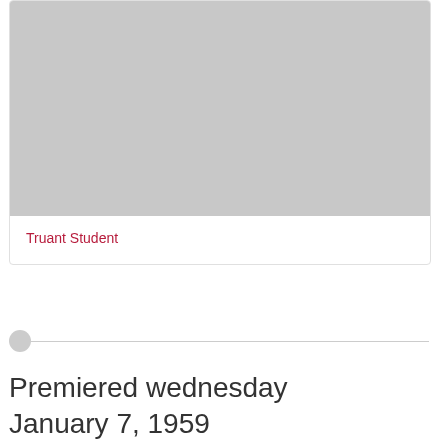[Figure (photo): Gray placeholder image rectangle at top of card]
Truant Student
Premiered wednesday January 7, 1959